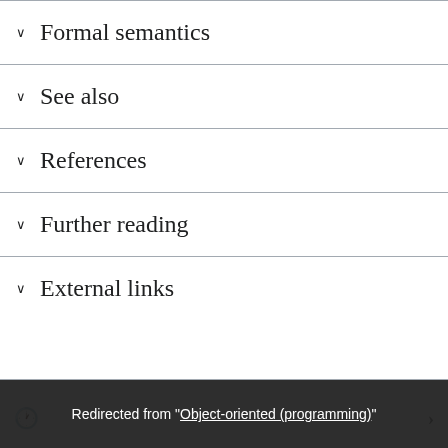Formal semantics
See also
References
Further reading
External links
Redirected from "Object-oriented (programming)"